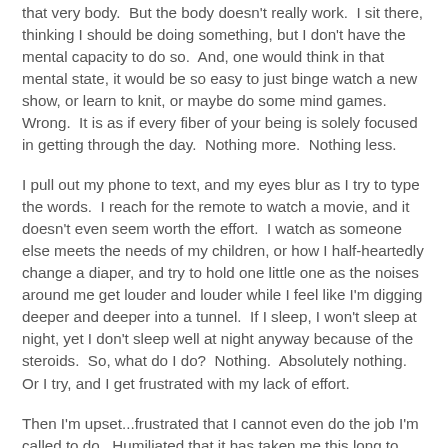that very body.  But the body doesn't really work.  I sit there, thinking I should be doing something, but I don't have the mental capacity to do so.  And, one would think in that mental state, it would be so easy to just binge watch a new show, or learn to knit, or maybe do some mind games.  Wrong.  It is as if every fiber of your being is solely focused in getting through the day.  Nothing more.  Nothing less.
I pull out my phone to text, and my eyes blur as I try to type the words.  I reach for the remote to watch a movie, and it doesn't even seem worth the effort.  I watch as someone else meets the needs of my children, or how I half-heartedly change a diaper, and try to hold one little one as the noises around me get louder and louder while I feel like I'm digging deeper and deeper into a tunnel.  If I sleep, I won't sleep at night, yet I don't sleep well at night anyway because of the steroids.  So, what do I do?  Nothing.  Absolutely nothing.  Or I try, and I get frustrated with my lack of effort.
Then I'm upset...frustrated that I cannot even do the job I'm called to do.  Humiliated that it has taken me this long to learn to give up that sense of control, but still clinging to the idea that it should be me who has enough energy to cook the